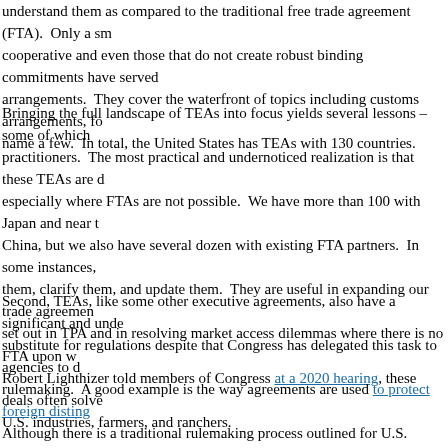understand them as compared to the traditional free trade agreement (FTA).  Only a small number are cooperative and even those that do not create robust binding commitments have served as useful arrangements.  They cover the waterfront of topics including customs arrangements, for name a few.  In total, the United States has TEAs with 130 countries.
Bringing the full landscape of TEAs into focus yields several lessons – some of which practitioners.  The most practical and undernoticed realization is that these TEAs are especially where FTAs are not possible.  We have more than 100 with Japan and near China, but we also have several dozen with existing FTA partners.  In some instances, them, clarify them, and update them.  They are useful in expanding our trade agreements set out in TPA and in resolving market access dilemmas where there is no FTA upon which Robert Lighthizer told members of Congress at a 2020 hearing, these deals often solve U.S. industries, farmers, and ranchers.
Second, TEAs, like some other executive agreements, also have a significant and under substitute for regulations despite that Congress has delegated this task to agencies to rulemaking.  A good example is the way agreements are used to protect foreign distinctive Although there is a traditional rulemaking process outlined for U.S. protection and recognition, sometimes taken on that role themselves. The many ways through which TEAs are deployed to protect distinctive foreign alcoholic products in turn creates questions about judicial review and